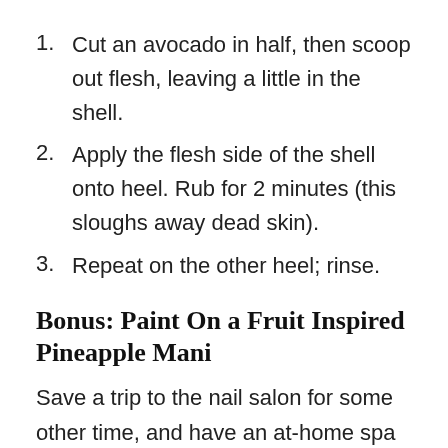1. Cut an avocado in half, then scoop out flesh, leaving a little in the shell.
2. Apply the flesh side of the shell onto heel. Rub for 2 minutes (this sloughs away dead skin).
3. Repeat on the other heel; rinse.
Bonus: Paint On a Fruit Inspired Pineapple Mani
Save a trip to the nail salon for some other time, and have an at-home spa date with your